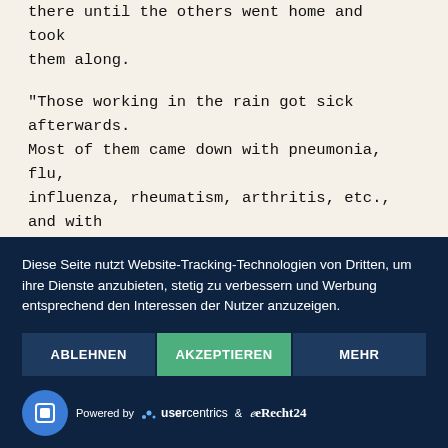there until the others went home and took them along.
“Those working in the rain got sick afterwards. Most of them came down with pneumonia, flu, influenza, rheumatism, arthritis, etc., and with frostbitten hands and feet.
Typhus and dysentery were the worst.”
Cookie consent banner: Diese Seite nutzt Website-Tracking-Technologien von Dritten, um ihre Dienste anzubieten, stetig zu verbessern und Werbung entsprechend den Interessen der Nutzer anzuzeigen.
ABLEHNEN | AKZEPTIEREN | MEHR
Powered by usercentrics & eRecht24